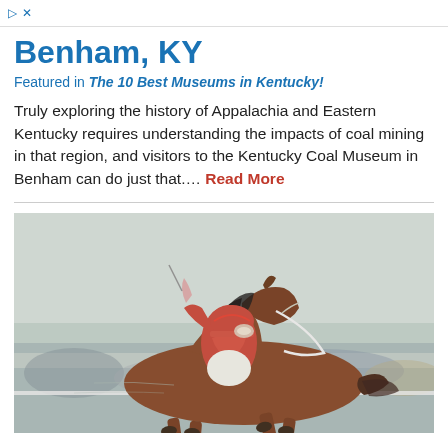▷ ✕
Benham, KY
Featured in The 10 Best Museums in Kentucky!
Truly exploring the history of Appalachia and Eastern Kentucky requires understanding the impacts of coal mining in that region, and visitors to the Kentucky Coal Museum in Benham can do just that.... Read More
[Figure (photo): A jockey in red and white riding a brown horse at a horse racing event, with a crowd in the background.]